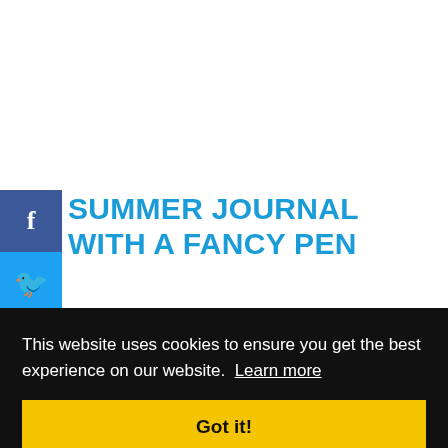SUMMER JOURNAL WITH A FANCY PEN
This website uses cookies to ensure you get the best experience on our website. Learn more
Got it!
students to draw as well